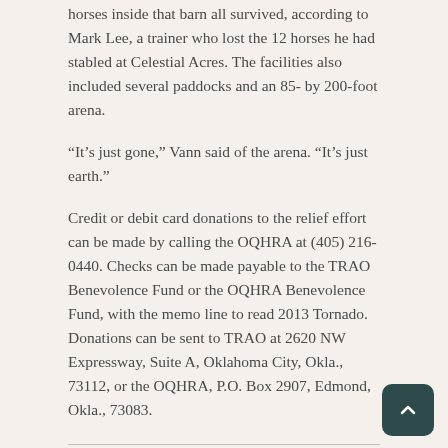horses inside that barn all survived, according to Mark Lee, a trainer who lost the 12 horses he had stabled at Celestial Acres. The facilities also included several paddocks and an 85- by 200-foot arena.
“It’s just gone,” Vann said of the arena. “It’s just earth.”
Credit or debit card donations to the relief effort can be made by calling the OQHRA at (405) 216-0440. Checks can be made payable to the TRAO Benevolence Fund or the OQHRA Benevolence Fund, with the memo line to read 2013 Tornado. Donations can be sent to TRAO at 2620 NW Expressway, Suite A, Oklahoma City, Okla., 73112, or the OQHRA, P.O. Box 2907, Edmond, Okla., 73083.
July 24, 2013 | Uncategorized